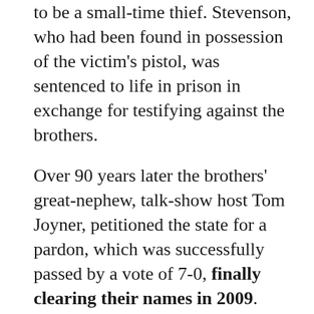to be a small-time thief. Stevenson, who had been found in possession of the victim's pistol, was sentenced to life in prison in exchange for testifying against the brothers.
Over 90 years later the brothers' great-nephew, talk-show host Tom Joyner, petitioned the state for a pardon, which was successfully passed by a vote of 7-0, finally clearing their names in 2009.
Todd Shaw, political science and African American studies professor at the University of South Carolina,